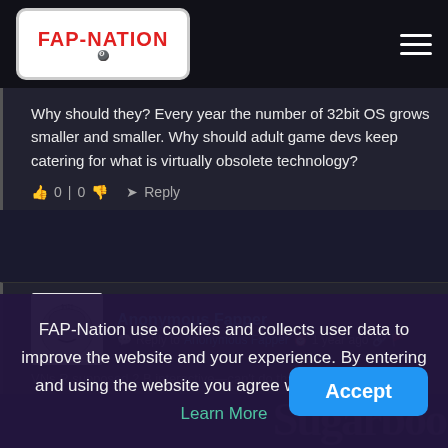FAP-NATION
Why should they? Every year the number of 32bit OS grows smaller and smaller. Why should adult game devs keep catering for what is virtually obsolete technology?
0 | 0   Reply
Anonymous Fapper
Reply to Anonymous Fapper  1 year ago
VNs R supposed 2 B interactive—can't do that W slide
FAP-Nation use cookies and collects user data to improve the website and your experience. By entering and using the website you agree with these terms. Learn More